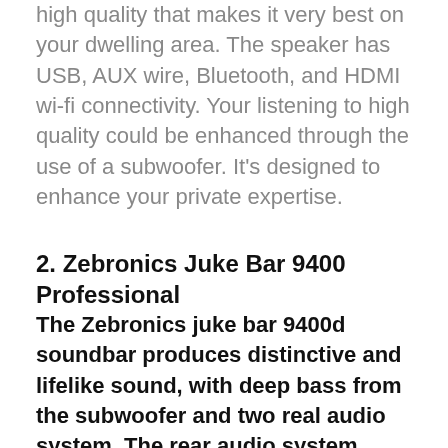high quality that makes it very best on your dwelling area. The speaker has USB, AUX wire, Bluetooth, and HDMI wi-fi connectivity. Your listening to high quality could be enhanced through the use of a subwoofer. It's designed to enhance your private expertise.
2. Zebronics Juke Bar 9400 Professional
The Zebronics juke bar 9400d soundbar produces distinctive and lifelike sound, with deep bass from the subwoofer and two real audio system. The rear audio system present wonderful baseline sound for movies, notably thriller and suspenseful movies.